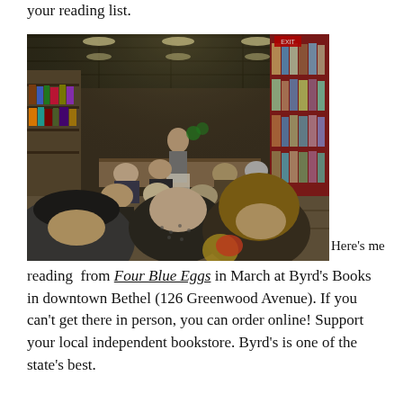your reading list.
[Figure (photo): Interior of a bookstore with people seated in rows listening to a woman reading or speaking at the front. The bookstore has shelves of books on the sides, with a red accent bookshelf on the right. The audience includes people of various ages, viewed from behind. A speaker stands at the front near what appears to be a podium or counter.]
Here’s me reading  from Four Blue Eggs in March at Byrd’s Books in downtown Bethel (126 Greenwood Avenue). If you can’t get there in person, you can order online! Support your local independent bookstore. Byrd’s is one of the state’s best.